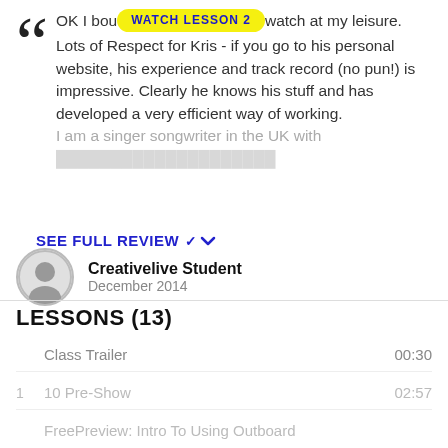OK I bought this so I can watch at my leisure. Lots of Respect for Kris - if you go to his personal website, his experience and track record (no pun!) is impressive. Clearly he knows his stuff and has developed a very efficient way of working. I am a singer songwriter in the UK with [faded text continues]
SEE FULL REVIEW ▾
Creativelive Student
December 2014
LESSONS (13)
Class Trailer  00:30
1  10 Pre-Show  02:57
FreePreview: Intro To Using Outboard